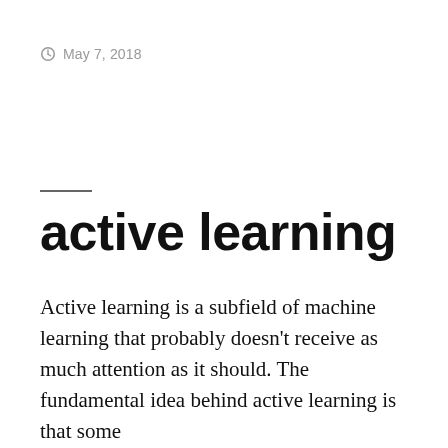May 7, 2018
active learning
Active learning is a subfield of machine learning that probably doesn't receive as much attention as it should. The fundamental idea behind active learning is that some